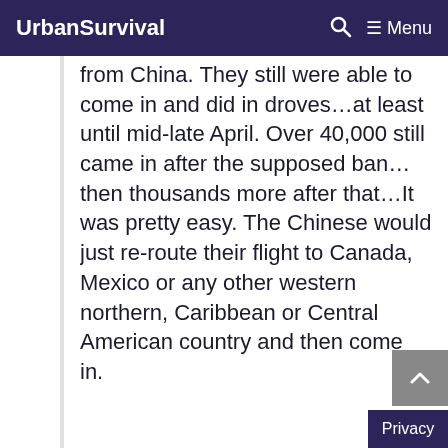UrbanSurvival  🔍  ≡ Menu
from China. They still were able to come in and did in droves…at least until mid-late April. Over 40,000 still came in after the supposed ban…then thousands more after that…It was pretty easy. The Chinese would just re-route their flight to Canada, Mexico or any other western northern, Caribbean or Central American country and then come in.